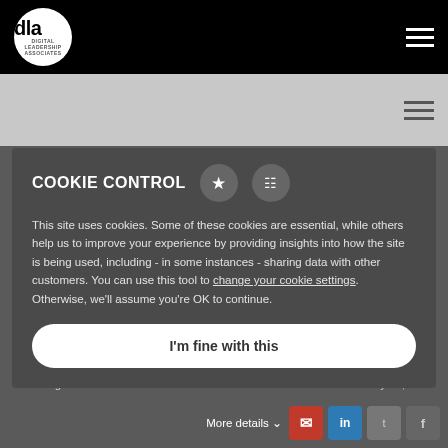DLA Digital Leadership Associates
[Figure (logo): DLA circular logo in white on black header bar]
for your growth agenda
COOKIE CONTROL

This site uses cookies. Some of these cookies are essential, while others help us to improve your experience by providing insights into how the site is being used, including - in some instances - sharing data with other customers. You can use this tool to change your cookie settings. Otherwise, we'll assume you're OK to continue.
I'm fine with this
Tim Hughes...
May 16, 2022
More details